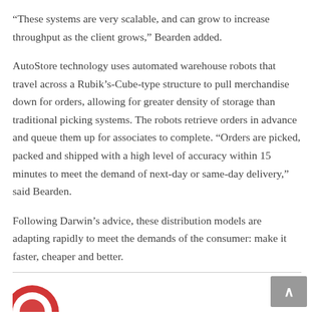“These systems are very scalable, and can grow to increase throughput as the client grows,” Bearden added.
AutoStore technology uses automated warehouse robots that travel across a Rubik’s-Cube-type structure to pull merchandise down for orders, allowing for greater density of storage than traditional picking systems. The robots retrieve orders in advance and queue them up for associates to complete. “Orders are picked, packed and shipped with a high level of accuracy within 15 minutes to meet the demand of next-day or same-day delivery,” said Bearden.
Following Darwin’s advice, these distribution models are adapting rapidly to meet the demands of the consumer: make it faster, cheaper and better.
[Figure (logo): Partial red circular logo visible at bottom left of page]